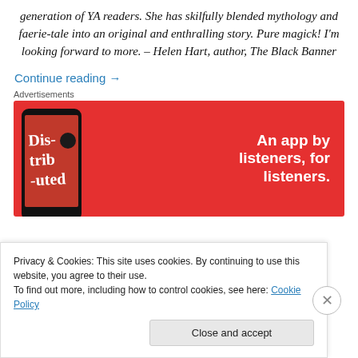generation of YA readers. She has skilfully blended mythology and faerie-tale into an original and enthralling story. Pure magick! I'm looking forward to more. – Helen Hart, author, The Black Banner
Continue reading →
Advertisements
[Figure (infographic): Red advertisement banner for a podcast/audio app featuring a smartphone displaying 'Distributed' text and the tagline 'An app by listeners, for listeners.' in white bold text on red background.]
Privacy & Cookies: This site uses cookies. By continuing to use this website, you agree to their use. To find out more, including how to control cookies, see here: Cookie Policy
Close and accept